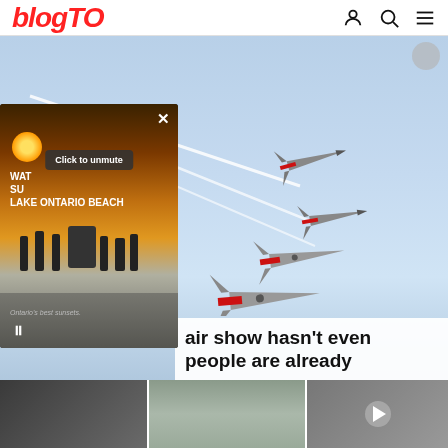blogTO
[Figure (screenshot): Main hero image of military jets (USAF Thunderbirds) flying in formation against a blue sky with white contrails. A video popup overlay in the bottom-left shows a sunset beach scene on Lake Ontario with text 'Click to unmute', 'LAKE ONTARIO BEACH', and 'Ontario's best sunsets.' with a pause button. A partial headline reads 'air show hasn't even people are already'.]
Click to unmute
LAKE ONTARIO BEACH
Ontario's best sunsets.
air show hasn't even people are already
[Figure (photo): Bottom strip showing three thumbnail images: a dark blurry image on left, a muted blue-grey outdoor scene in center, and a dark grey image on right with a play button circle.]